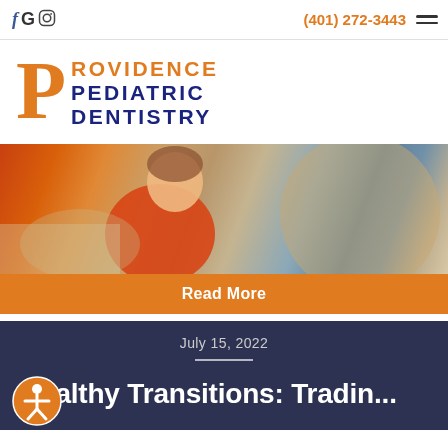fG [social icons] | (401) 272-3443 | [hamburger menu]
[Figure (logo): Providence Pediatric Dentistry logo with large orange P and blue text]
[Figure (photo): Photo of a child, warm colors, orange and beige tones]
Read More
July 15, 2022
Healthy Transitions: Tradin...